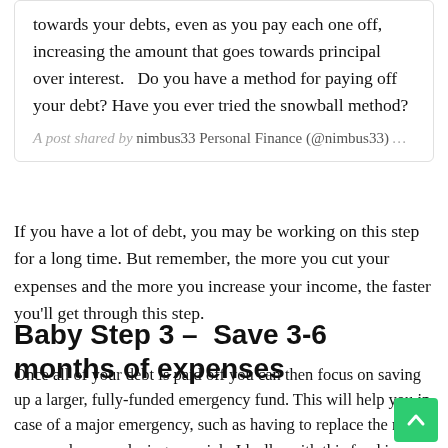towards your debts, even as you pay each one off, increasing the amount that goes towards principal over interest.   Do you have a method for paying off your debt? Have you ever tried the snowball method?
A post shared by nimbus33 Personal Finance (@nimbus33) …
If you have a lot of debt, you may be working on this step for a long time. But remember, the more you cut your expenses and the more you increase your income, the faster you'll get through this step.
Baby Step 3 –  Save 3-6 months of expenses
Once all of your debt is paid off you can then focus on saving up a larger, fully-funded emergency fund. This will help you in case of a major emergency, such as having to replace the roof on your home or losing your job. Ideally, with this fund in place, you'll be prepared to handle just about any emergency without having to rely on taking on debt again.